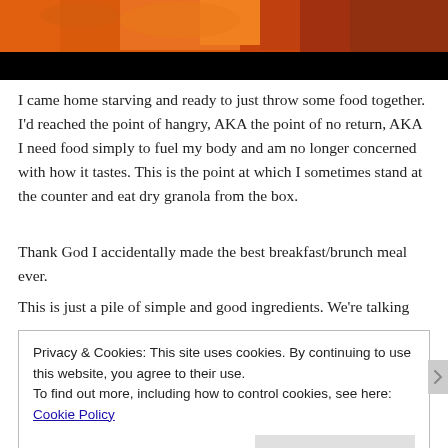[Figure (photo): Top portion of a food photograph showing orange and dark colored food items on a black background]
I came home starving and ready to just throw some food together. I'd reached the point of hangry, AKA the point of no return, AKA I need food simply to fuel my body and am no longer concerned with how it tastes. This is the point at which I sometimes stand at the counter and eat dry granola from the box.
Thank God I accidentally made the best breakfast/brunch meal ever.
This is just a pile of simple and good ingredients. We're talking
Privacy & Cookies: This site uses cookies. By continuing to use this website, you agree to their use.
To find out more, including how to control cookies, see here: Cookie Policy
Close and accept